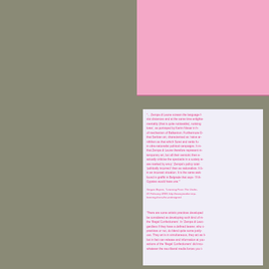[Figure (photo): Photograph of printed documents on a khaki/olive background. Top right shows a pink paper with pattern. Bottom right shows a white/light lavender document page with pink text in two paragraphs — a block quote and a citation, followed by another paragraph. Left half is plain olive/khaki background.]
... Zempa di Leone scream the language f- slut distances and at the same time enlighte- mentality (that is quite noticeable), noticing lures', as portrayed by Karim Nissar in h- of mechanism of Balkanism. Furthermore D- that Serbian art, characterised as 'naive ar- nihilism as that which Soret and ranks fu- in ultra-nationalist political campaigns. It m- that Zempa di Leone therefore represent m- temporary art, but all their semiotic then e- actually criticise the spectacle in a society w- are marked by envy.' Zempa's policy total- 'politically incorrect' than as nationalists. It b- in an inconact situation. It is the same awk- found in graffiti in Belgrade that says- 'If th- Gypsies would have one.'
Sergan Beyres, "Learning From The Under- 01 February 2009, http://www.janaker.imp- learning-from-the-undesigned.
'There are some artistic practices developed be considered as developing such kind of m- the 'Illegal Confectioners'. In 'Zempa di Leoc- gardless if they have a defined bearer, who c- practices or not, do blend quite some justly- ous. They art is in simultaneous, they act as li- but in fact can release and information at you- actions of the 'Illegal Confectioners' did inco- whatever the neo-liberal media forces you t-